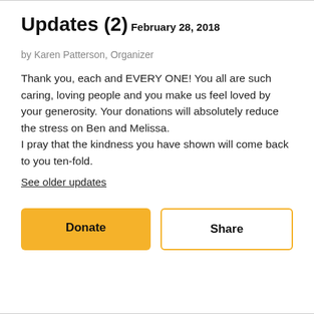Updates (2)
February 28, 2018
by Karen Patterson, Organizer
Thank you, each and EVERY ONE! You all are such caring, loving people and you make us feel loved by your generosity. Your donations will absolutely reduce the stress on Ben and Melissa.
I pray that the kindness you have shown will come back to you ten-fold.
See older updates